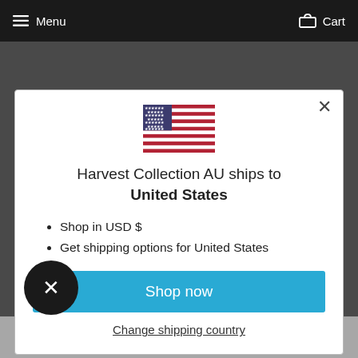Menu   Cart
[Figure (illustration): US flag emoji/illustration centered in modal]
Harvest Collection AU ships to United States
Shop in USD $
Get shipping options for United States
Shop now
Change shipping country
Shipped securely in a flat envelope with backing board to prevent bending during transit. If you order with frame, we